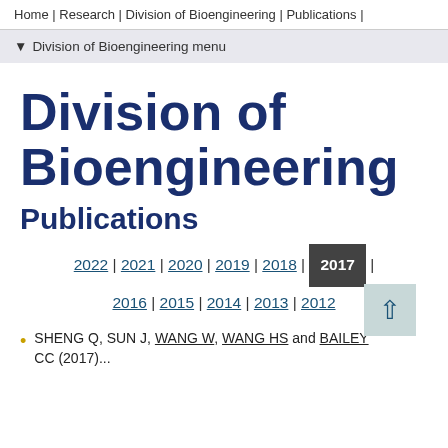Home | Research | Division of Bioengineering | Publications |
▾ Division of Bioengineering menu
Division of Bioengineering
Publications
2022 | 2021 | 2020 | 2019 | 2018 | 2017 | 2016 | 2015 | 2014 | 2013 | 2012
SHENG Q, SUN J, WANG W, WANG HS and BAILEY CC (2017)...